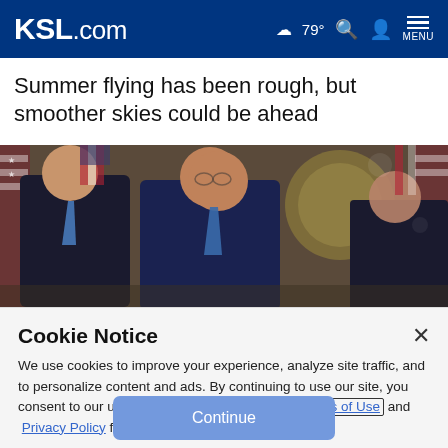KSL.com  ☁ 79°  🔍  👤  MENU
Summer flying has been rough, but smoother skies could be ahead
[Figure (photo): Politicians in suits at an official event with American flags and a presidential seal in the background]
Cookie Notice
We use cookies to improve your experience, analyze site traffic, and to personalize content and ads. By continuing to use our site, you consent to our use of cookies. Please visit our Terms of Use and  Privacy Policy for more information.
Continue